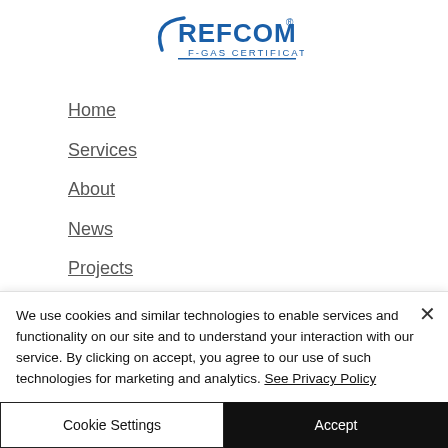[Figure (logo): REFCOM F-GAS CERTIFICATED logo with blue arc and text]
Home
Services
About
News
Projects
Electrical Engineering
We use cookies and similar technologies to enable services and functionality on our site and to understand your interaction with our service. By clicking on accept, you agree to our use of such technologies for marketing and analytics. See Privacy Policy
Cookie Settings
Accept